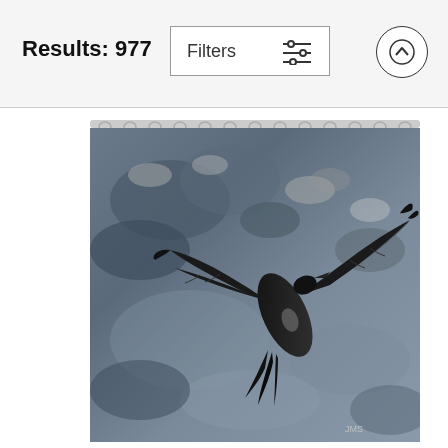Results: 977
[Figure (screenshot): UI header bar with 'Results: 977' text on left, a 'Filters' button with sliders icon in the center, and an up-arrow circular button on the right]
[Figure (photo): Black and white photo of a large bird (frigate bird) soaring over ocean water with reflections, displayed as a shower curtain product on a curtain rod with rings]